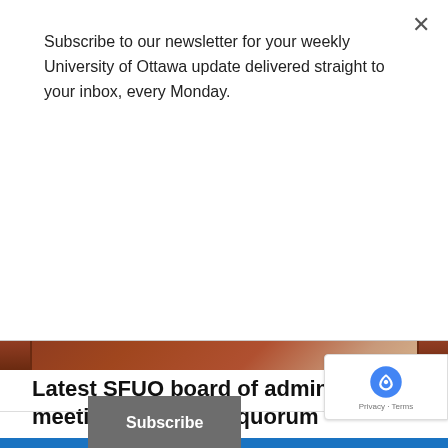Subscribe to our newsletter for your weekly University of Ottawa update delivered straight to your inbox, every Monday.
Subscribe
[Figure (photo): Partial view of a meeting table with documents, cropped strip at top of article]
Latest SFUO board of administration meeting lowers GA quorum
Eric Davidson   2017/01/16, 5:19 pm
The Jan. 15 meeting came only four days after a special meeting of the BOA, where a report by comptroller general Tanner Tallon raised issues about executives' expenses and hours in the office.